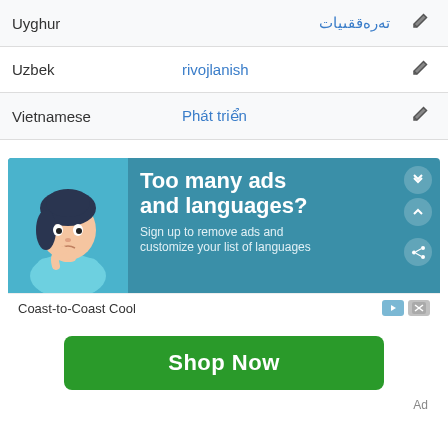| Language | Translation | Edit |
| --- | --- | --- |
| Uyghur | تەرەققىيات |  |
| Uzbek | rivojlanish |  |
| Vietnamese | Phát triển |  |
[Figure (illustration): Advertisement banner with teal background, cartoon woman looking confused, text 'Too many ads and languages?' and 'Sign up to remove ads and customize your list of languages']
Coast-to-Coast Cool
Shop Now
Ad